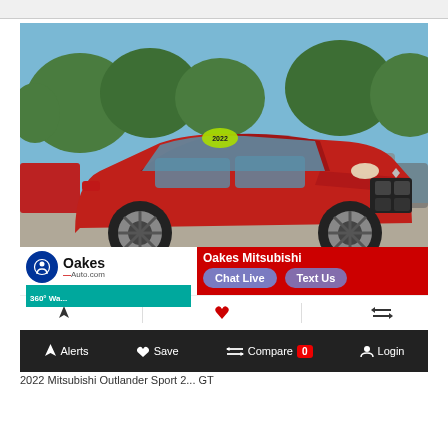[Figure (photo): Red 2022 Mitsubishi Outlander Sport SUV photographed at a dealership lot with green trees in the background and other vehicles visible. A yellow price sticker is on the windshield.]
(913) 222-5300
Oakes Auto.com
Oakes Mitsubishi
Chat Live
Text Us
360° Wa...
Alerts   Save   Compare 0   Login
2022 Mitsubishi Outlander Sport 2... GT